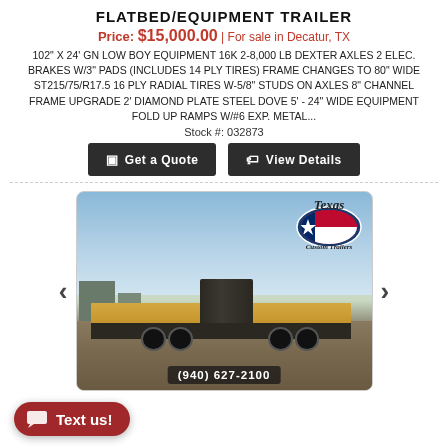FLATBED/EQUIPMENT TRAILER
Price: $15,000.00 | For sale in Decatur, TX
102" X 24' GN LOW BOY EQUIPMENT 16K 2-8,000 LB DEXTER AXLES 2 ELEC. BRAKES W/3" PADS (INCLUDES 14 PLY TIRES) FRAME CHANGES TO 80" WIDE ST215/75/R17.5 16 PLY RADIAL TIRES W-5/8" STUDS ON AXLES 8" CHANNEL FRAME UPGRADE 2' DIAMOND PLATE STEEL DOVE 5' - 24" WIDE EQUIPMENT FOLD UP RAMPS W/#6 EXP. METAL...
Stock #: 032873
[Figure (photo): Flatbed/equipment gooseneck trailer photo with Texas Custom Trailers logo and phone number (940) 627-2100]
Text us!